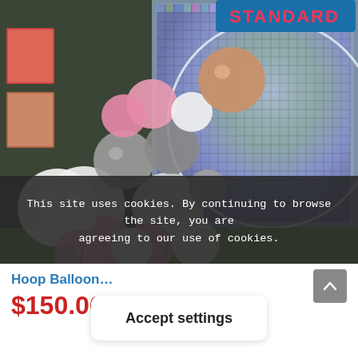[Figure (photo): A balloon garland arrangement with pink, white, gray, and rose gold/chrome balloons displayed against a large circular hoop backdrop covered with iridescent holographic sequin shimmer wall panels. A sign reading 'STANDARD' is visible in the top right background. The setup is in what appears to be a party supply store.]
This site uses cookies. By continuing to browse the site, you are agreeing to our use of cookies.
Hoop Balloon...
$150.00
Accept settings